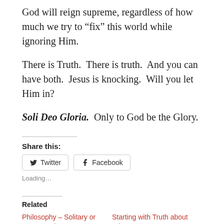God will reign supreme, regardless of how much we try to “fix” this world while ignoring Him.
There is Truth.  There is truth.  And you can have both.  Jesus is knocking.  Will you let Him in?
Soli Deo Gloria.  Only to God be the Glory.
Share this:
Twitter  Facebook
Loading…
Related
Philosophy – Solitary or…
Starting with Truth about What…